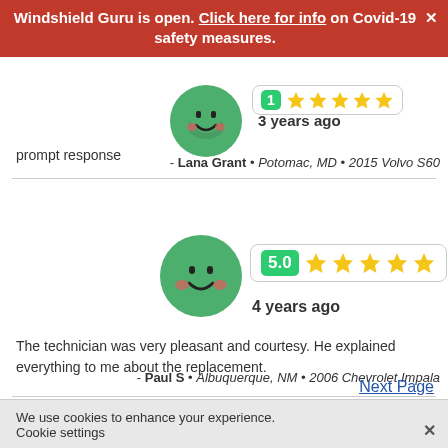Windshield Guru is open. Click here for info on Covid-19 safety measures.
[Figure (illustration): Green smiley face avatar icon, top review]
3 years ago
prompt response
- Lana Grant • Potomac, MD • 2015 Volvo S60
[Figure (illustration): Green smiley face avatar icon, bottom review, with 5.0 star rating badge and 5 gold stars]
4 years ago
The technician was very pleasant and courtesy. He explained everything to me about the replacement.
- Paul S • Albuquerque, NM • 2006 Chevrolet Impala
Next Page
We use cookies to enhance your experience. Cookie settings